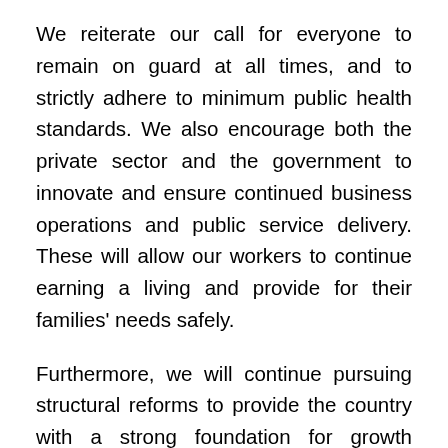We reiterate our call for everyone to remain on guard at all times, and to strictly adhere to minimum public health standards. We also encourage both the private sector and the government to innovate and ensure continued business operations and public service delivery. These will allow our workers to continue earning a living and provide for their families' needs safely.
Furthermore, we will continue pursuing structural reforms to provide the country with a strong foundation for growth beyond the pandemic, such as the Philippine Identification System, which has registered more than 41.9 million Filipinos to the demographic data capture as of September 3, 2021.
We also urge legislators to swiftly pass the